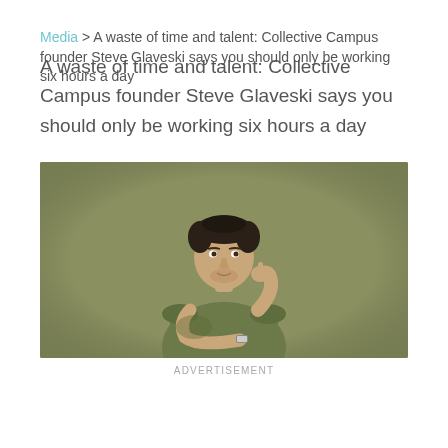Media > A waste of time and talent: Collective Campus founder Steve Glaveski says you should only be working six hours a day
[Figure (photo): A man in a dark olive green t-shirt against a khaki/olive background, posing thoughtfully with one hand raised to his chin and arms crossed, looking upward with a slight smile.]
ADVERTISEMENT